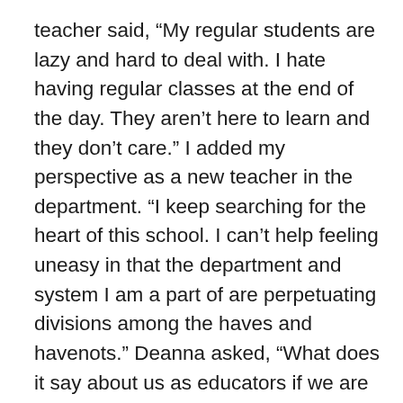teacher said, “My regular students are lazy and hard to deal with. I hate having regular classes at the end of the day. They aren’t here to learn and they don’t care.” I added my perspective as a new teacher in the department. “I keep searching for the heart of this school. I can’t help feeling uneasy in that the department and system I am a part of are perpetuating divisions among the haves and havenots.” Deanna asked, “What does it say about us as educators if we are only feeling successful with an already successful group of kids? Aren’t we failing a huge section of our population?”